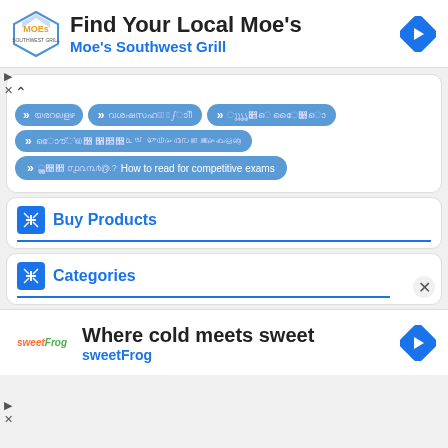[Figure (infographic): Ad banner for Moe's Southwest Grill with logo, title 'Find Your Local Moe's', subtitle in blue, and navigation arrow icon]
[Figure (infographic): Content area with collapse button and multiple blue pill/button navigation links with Hindi text and one English text about competitive exams]
Buy Products
Categories
[Figure (infographic): Ad banner for sweetFrog with logo, title 'Where cold meets sweet', subtitle 'sweetFrog' in blue, and navigation arrow icon]